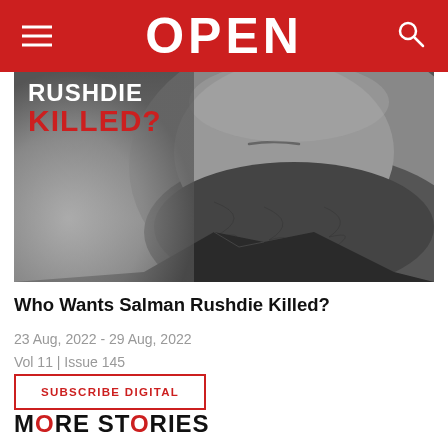OPEN
[Figure (photo): Black and white close-up photograph of a bearded man's face (lower half), with overlaid text reading 'RUSHDIE KILLED?' in white and red on the left side. Magazine cover image.]
Who Wants Salman Rushdie Killed?
23 Aug, 2022 - 29 Aug, 2022
Vol 11 | Issue 145
SUBSCRIBE DIGITAL
MORE STORIES